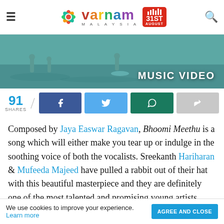Varnam Malaysia
[Figure (screenshot): Music video thumbnail showing people on a beach/water with text 'MUSIC VIDEO' overlaid]
91 SHARES
Composed by Jaya Easwar Ragavan, Bhoomi Meethu is a song which will either make you tear up or indulge in the soothing voice of both the vocalists. Sreekanth Hariharan & Mufeeda Majeed have pulled a rabbit out of their hat with this beautiful masterpiece and they are definitely one of the most talented and promising young artists today. Their success does not hinder them from
We use cookies to improve your experience. Learn more AGREE AND CLOSE